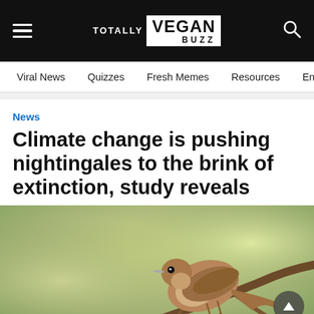TOTALLY VEGAN BUZZ
Viral News   Quizzes   Fresh Memes   Resources   Entertainment
News
Climate change is pushing nightingales to the brink of extinction, study reveals
[Figure (photo): A nightingale bird perched on a branch, photographed against a soft green/yellow bokeh background]